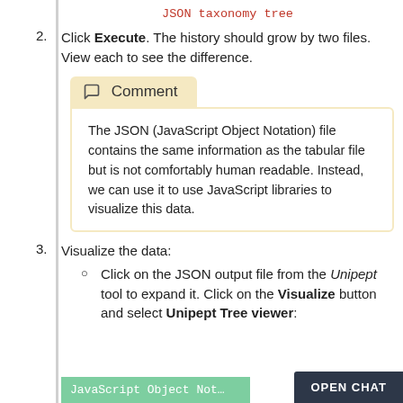JSON taxonomy tree
Click Execute. The history should grow by two files. View each to see the difference.
Comment
The JSON (JavaScript Object Notation) file contains the same information as the tabular file but is not comfortably human readable. Instead, we can use it to use JavaScript libraries to visualize this data.
Visualize the data:
Click on the JSON output file from the Unipept tool to expand it. Click on the Visualize button and select Unipept Tree viewer:
JavaScript Object Not...